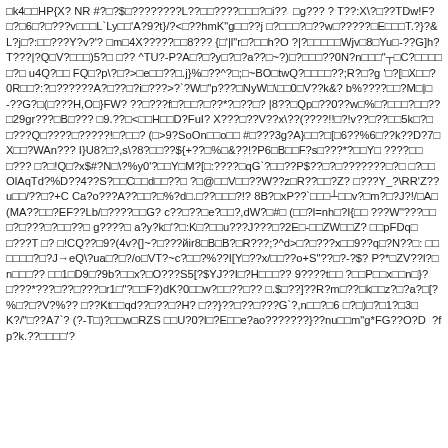□k4□□HP{X? NR #?□?$□????????L??□□????□□□?□i??  □g??? ? T??:X\?□??TDw!F?□?□6□?□???v□□□L`Ly□□'A?9?t}/?<□??hmK"g□□??j □?□□□?□??w□?????□E□□□T.?}?&L?j□?:□□???Y?v?'? □m□4X?????□□8??? {□'|l"r□?□□h?O ?|?□□□□□Wjv□8□Yu□-??G]h?T???|?Q□V?□□□)5?□ □?? ^TU?-P?A□?□?y□?□?a??□~?)□?□□□??0N?n□□□"┬□C?□□□□□?□ u4Q?□□ FQ□?p\?□?>□e□□??□.j}%□??^?□;□~BO□twQ?□□□□??;R?□?g '□?[□X□□? 0R□□?:?□??????A?□??□?i□???>`? ?W□"p???□NyW□\□□0□V??k&? b%????□□?M□|□-??G?□(□???H,O□}FW? ??□???f□?□□?□??*?□??□? |8??□Qp□??0??w□%□?□□□?□□??□29gr???□B□??? □9.??□<□□H□□D?FuI? X???□??V??x\??(????!!□?!v??□??□□5k□?□□???Q□????□?????!□?□□? (□>9?SoOn□□o□□ #□???3g?A}□□?□[□6??%6□??k??D?7□X□□?WAn??? I}U8?□?,s\?8?□□??${+??□%□&??!?P6□B□□F?s□???*?□□Y□ ????□□□??? □?□!Q□?x$#?N□\?%y0'?□□Y□M?[□:????□qG`?□□??P$??□?□???????□?□ □?□□OlAqTd?%D??4??S?□□C□□d□□??□ ?□@□□V□□??W??z□R??□□?Z? □???Y_?\RR'Z??u□□/??□?+C Ca?o???A??□□?□%?d□.□??□□□?!? 8B?□xP??`□□□┴□□v?□m?□?J?!/□A□(MA??□□?EF??Lb/□????□□G? c??□??□e?□□?,dW?□#□ (□□?l=nh□?I{□□ ???W"???□□□?□???□?□□??□ g????□ a?y?k□'?□:K□?□□u???J???□?2E□-□□ZW□□Z? □□pFDq□□???T □? □!CQ??□9?(4v?{]~?□???йir8□B□B?□R???;?^d>□?□???x□□9??q□?N??□: □□□□□□?□?J→eQ\?ua□?□?/o□VT?~c?□□?%??I[Y□??x/□□??o+S"??□?-?$? P?*□ZV??l?□n□□□?? □□1□D9□?9b?□□x?□O???S5[?$YJ??I□?H□□□?? 9????t□□ ?□□P□□x□□n□}?□???*???□??□???□r1□"?□□F?)dK?0□□w?□□??□?? □.$□??]??R?m□??□k□□z?□?a?□[?%□?□?V?%?? □??Kt□□qd??□??□?H? □??}??□??□???G`?,n□□?□6 □?□)□?□1?□3□K?/"□??A7`? (?-T□)?□□w□RZS □□U?0?l□?E□□e?ao???????}??nu□□m"g*FG??O?D  ?fp?k.??□□□□'?